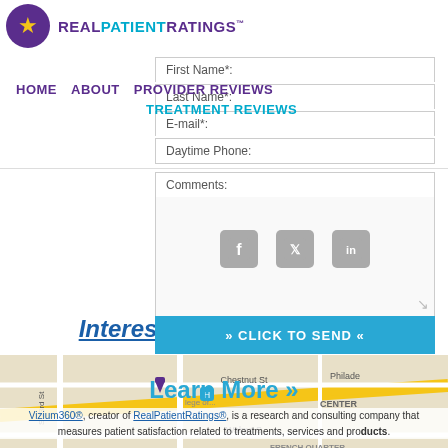REAL PATIENT RATINGS™
HOME   ABOUT   PROVIDER REVIEWS
TREATMENT REVIEWS
First Name*:
Last Name*:
E-mail*:
Daytime Phone:
Comments:
[Figure (screenshot): Facebook, Twitter, and LinkedIn social media icons]
» CLICK TO SEND «
Interested in Signing Up?
Learn More »
[Figure (map): Google Maps image showing Philadelphia streets including Chestnut St, Walnut St, S 23rd St, with areas labeled CENTER, FRENCH QUARTER, RITTENHOUSE]
Vizium360®, creator of RealPatientRatings®, is a research and consulting company that measures patient satisfaction related to treatments, services and products.